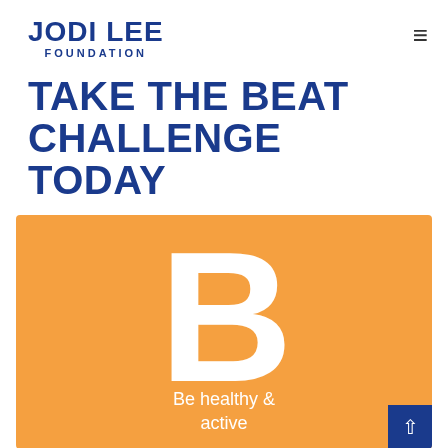JODI LEE FOUNDATION
TAKE THE BEAT CHALLENGE TODAY
[Figure (illustration): Orange rectangle with a large white letter B and text 'Be healthy & active' below it, with a dark blue scroll-up button in the bottom right corner.]